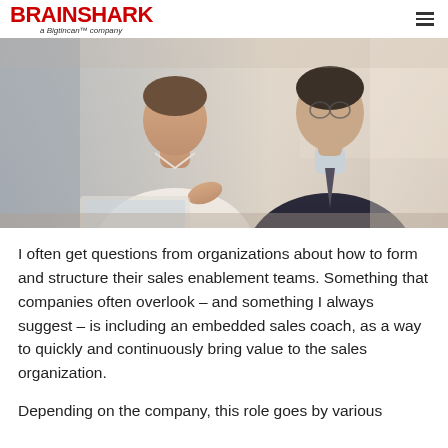BRAINSHARK a Bigtincan™ company
[Figure (photo): Two business professionals in a meeting, one in a white shirt and one in a dark suit, looking at a laptop together]
I often get questions from organizations about how to form and structure their sales enablement teams. Something that companies often overlook – and something I always suggest – is including an embedded sales coach, as a way to quickly and continuously bring value to the sales organization.
Depending on the company, this role goes by various